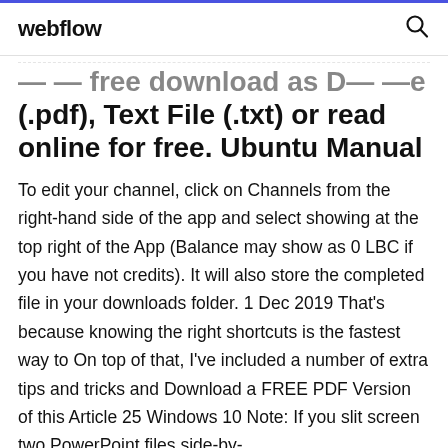webflow
(.pdf), Text File (.txt) or read online for free. Ubuntu Manual
To edit your channel, click on Channels from the right-hand side of the app and select showing at the top right of the App (Balance may show as 0 LBC if you have not credits). It will also store the completed file in your downloads folder. 1 Dec 2019 That's because knowing the right shortcuts is the fastest way to On top of that, I've included a number of extra tips and tricks and Download a FREE PDF Version of this Article 25 Windows 10 Note: If you slit screen two PowerPoint files side-by-